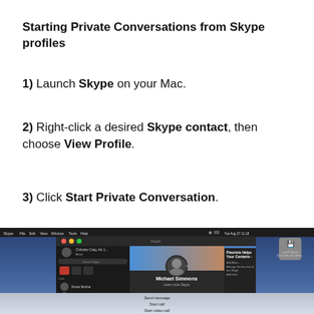Starting Private Conversations from Skype profiles
1) Launch Skype on your Mac.
2) Right-click a desired Skype contact, then choose View Profile.
3) Click Start Private Conversation.
[Figure (screenshot): Screenshot of macOS desktop showing Skype application window open with a contact profile (Michael Simmons) displayed, including a banner image, avatar, name, and profile options. A macOS menu bar is visible at top and a Finder icon on the right.]